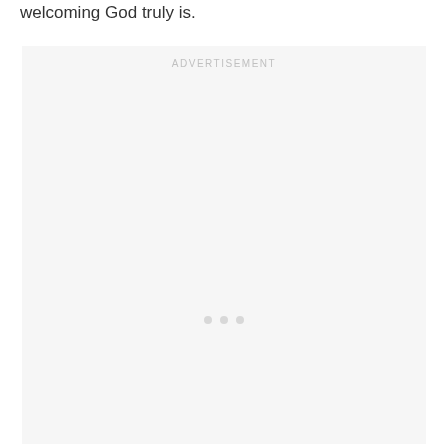welcoming God truly is.
[Figure (other): Advertisement placeholder box with light gray background, the word ADVERTISEMENT in small spaced caps at top center, and three small gray dots in the middle of the box.]